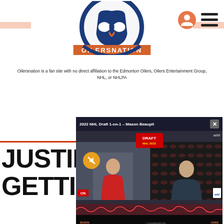[Figure (logo): Oilersnation logo — circular emblem with navy blue hockey mask graphic and orange droplet, 'OILERSNATION' text on orange bar below]
Oilersnation is a fan site with no direct affiliation to the Edmonton Oilers, Oilers Entertainment Group, NHL, or NHLPA
[Figure (screenshot): Video popup titled '2022 NHL Draft 1-on-1 – Mason Beaupit' showing two video panels side by side: left panel shows a player (Mason Beaupit) in red shirt, right panel shows interviewer (Chris Wahl) in dark setting. Yellow mute button overlay. WHL Draft badge at top center. Bottom bar shows 'BEAUPIT' and 'WAHL' name plates. Oilersnation/WHL logos at bottom.]
JUSTIN S… GETTING…